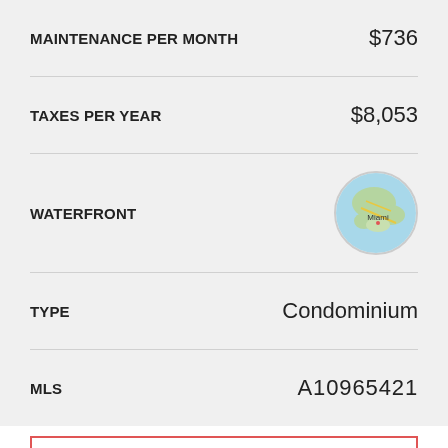| Field | Value |
| --- | --- |
| MAINTENANCE PER MONTH | $736 |
| TAXES PER YEAR | $8,053 |
| WATERFRONT | (map) |
| TYPE | Condominium |
| MLS | A10965421 |
More info
Request details
Listing Description
DEAL ALERT! Best priced 2 bedroom in the building. The residence features porcelain flooring throughout, custom